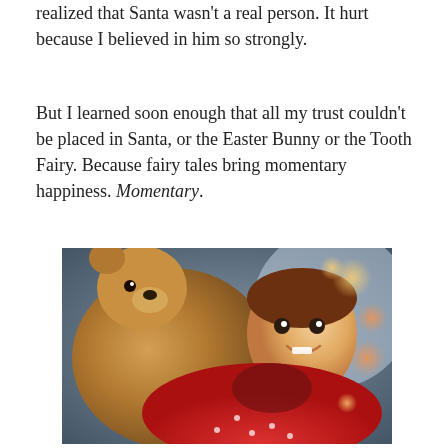realized that Santa wasn't a real person. It hurt because I believed in him so strongly.
But I learned soon enough that all my trust couldn't be placed in Santa, or the Easter Bunny or the Tooth Fairy. Because fairy tales bring momentary happiness. Momentary.
[Figure (photo): A smiling young girl with dark hair wearing red Christmas pajamas, hugging a large brown stuffed animal/teddy bear. Bokeh holiday lights visible in the background.]